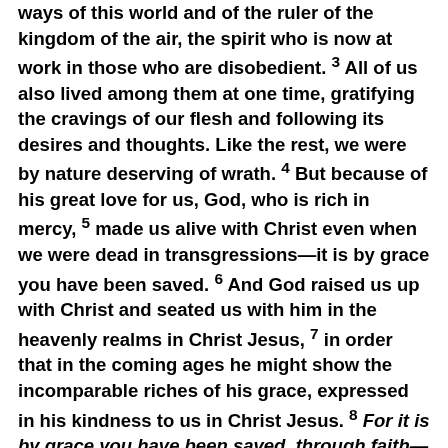ways of this world and of the ruler of the kingdom of the air, the spirit who is now at work in those who are disobedient. 3 All of us also lived among them at one time, gratifying the cravings of our flesh and following its desires and thoughts. Like the rest, we were by nature deserving of wrath. 4 But because of his great love for us, God, who is rich in mercy, 5 made us alive with Christ even when we were dead in transgressions—it is by grace you have been saved. 6 And God raised us up with Christ and seated us with him in the heavenly realms in Christ Jesus, 7 in order that in the coming ages he might show the incomparable riches of his grace, expressed in his kindness to us in Christ Jesus. 8 For it is by grace you have been saved, through faith—and this is not from yourselves, it is the gift of God— 9 not by works, so that no one can boast. 10 For we are God's handiwork, created in